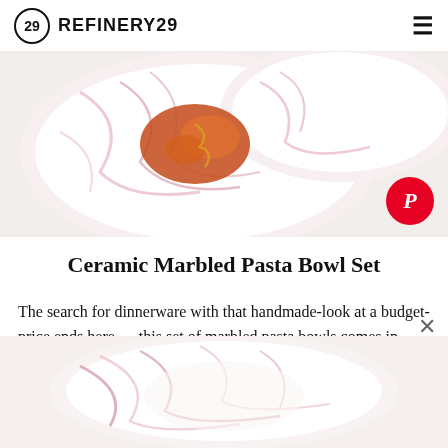REFINERY29
[Figure (photo): Top-down view of pink and white marbled ceramic pasta bowls with food]
Ceramic Marbled Pasta Bowl Set
The search for dinnerware with that handmade-look at a budget-price ends here — this set of marbled pasta bowls comes in dreamy faded-pastel options from pink to blue, gray, or green.
[Figure (photo): Close-up of a pink and white marbled ceramic pasta bowl]